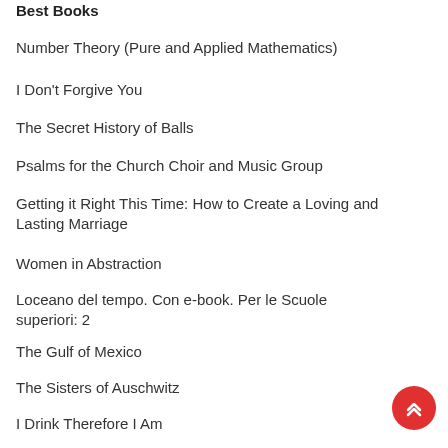Best Books
Number Theory (Pure and Applied Mathematics)
I Don't Forgive You
The Secret History of Balls
Psalms for the Church Choir and Music Group
Getting it Right This Time: How to Create a Loving and Lasting Marriage
Women in Abstraction
Loceano del tempo. Con e-book. Per le Scuole superiori: 2
The Gulf of Mexico
The Sisters of Auschwitz
I Drink Therefore I Am
Driving Power of Thought (1920)